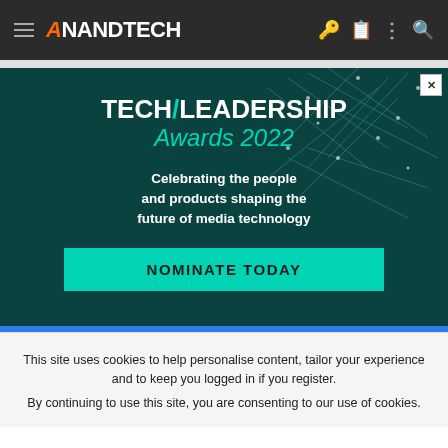AnandTech
[Figure (infographic): Tech/Leadership Awards 2022 advertisement. Dark teal background with geometric wireframe lines. Text: TECH/LEADERSHIP Awards 2022 - Celebrating the people and products shaping the future of media technology. NOMINATE TODAY button in cyan/teal.]
This site uses cookies to help personalise content, tailor your experience and to keep you logged in if you register. By continuing to use this site, you are consenting to our use of cookies.